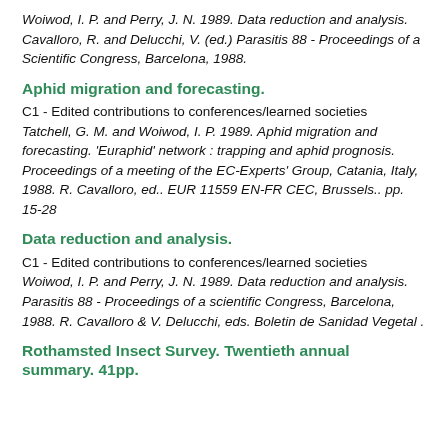Woiwod, I. P. and Perry, J. N. 1989. Data reduction and analysis. Cavalloro, R. and Delucchi, V. (ed.) Parasitis 88 - Proceedings of a Scientific Congress, Barcelona, 1988.
Aphid migration and forecasting.
C1 - Edited contributions to conferences/learned societies Tatchell, G. M. and Woiwod, I. P. 1989. Aphid migration and forecasting. 'Euraphid' network : trapping and aphid prognosis. Proceedings of a meeting of the EC-Experts' Group, Catania, Italy, 1988. R. Cavalloro, ed.. EUR 11559 EN-FR CEC, Brussels.. pp. 15-28
Data reduction and analysis.
C1 - Edited contributions to conferences/learned societies Woiwod, I. P. and Perry, J. N. 1989. Data reduction and analysis. Parasitis 88 - Proceedings of a scientific Congress, Barcelona, 1988. R. Cavalloro & V. Delucchi, eds. Boletin de Sanidad Vegetal .
Rothamsted Insect Survey. Twentieth annual summary. 41pp.